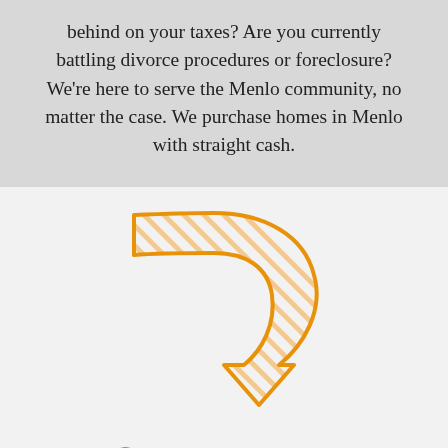behind on your taxes? Are you currently battling divorce procedures or foreclosure? We're here to serve the Menlo community, no matter the case. We purchase homes in Menlo with straight cash.
[Figure (illustration): Orange hand-drawn style curved arrow pointing downward with diagonal line hatching fill pattern]
Start Here
To Get Your Cash Offer!